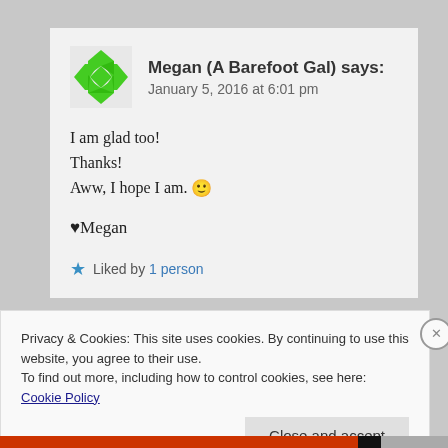Megan (A Barefoot Gal) says:
January 5, 2016 at 6:01 pm
I am glad too!
Thanks!
Aww, I hope I am. 🙂
♥Megan
★ Liked by 1person
Privacy & Cookies: This site uses cookies. By continuing to use this website, you agree to their use.
To find out more, including how to control cookies, see here: Cookie Policy
Close and accept